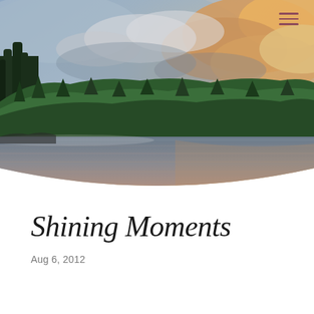[Figure (photo): A landscape photo of a calm lake with dense green forest in the background and dramatic golden-orange clouds reflected in the still water at sunset or sunrise. The image has a curved white arch at the bottom cutting into it.]
Shining Moments
Aug 6, 2012